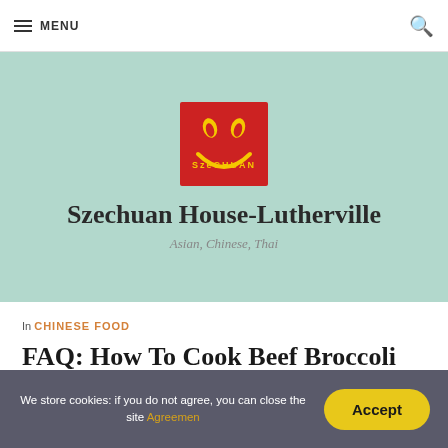MENU
[Figure (logo): Szechuan House logo — red square background with yellow smiley face made of Chinese characters]
Szechuan House-Lutherville
Asian, Chinese, Thai
In CHINESE FOOD
FAQ: How To Cook Beef Broccoli Chinese
We store cookies: if you do not agree, you can close the site Agreemen